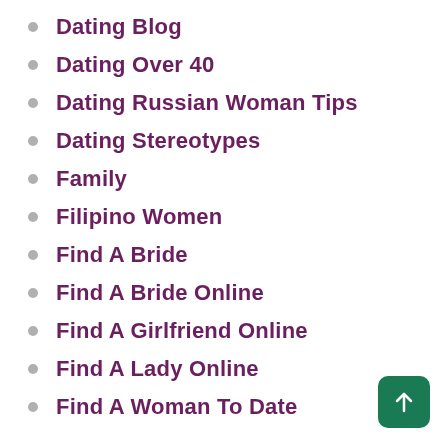Dating Blog
Dating Over 40
Dating Russian Woman Tips
Dating Stereotypes
Family
Filipino Women
Find A Bride
Find A Bride Online
Find A Girlfriend Online
Find A Lady Online
Find A Woman To Date